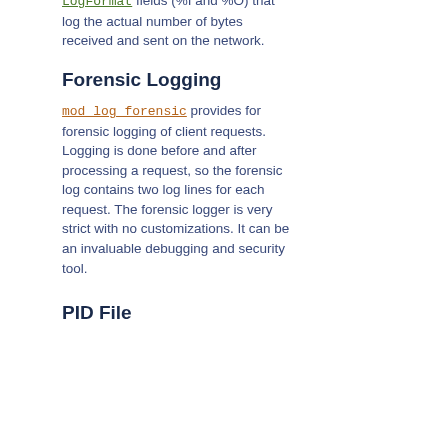mod_logio adds in two additional LogFormat fields (%I and %O) that log the actual number of bytes received and sent on the network.
Forensic Logging
mod_log_forensic provides for forensic logging of client requests. Logging is done before and after processing a request, so the forensic log contains two log lines for each request. The forensic logger is very strict with no customizations. It can be an invaluable debugging and security tool.
PID File